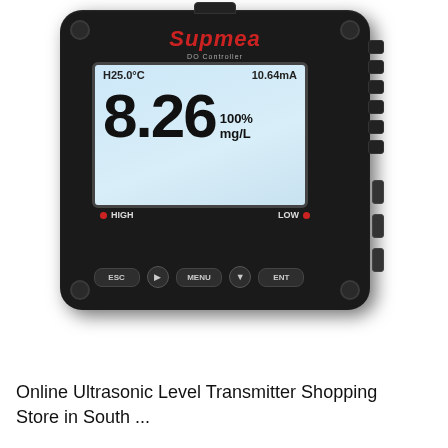[Figure (photo): Supmea DO Controller device — a black square industrial controller with LCD display showing 8.26 mg/L at 100%, H25.0°C temperature, 10.64mA current output, HIGH and LOW indicator LEDs, and ESC/MENU/ENT buttons with arrow keys. Brand name 'Supmea' in red italic on the front panel.]
Online Ultrasonic Level Transmitter Shopping Store in South ...